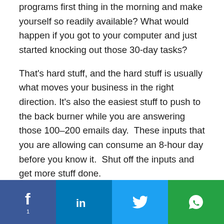programs first thing in the morning and make yourself so readily available? What would happen if you got to your computer and just started knocking out those 30-day tasks?
That's hard stuff, and the hard stuff is usually what moves your business in the right direction. It's also the easiest stuff to push to the back burner while you are answering those 100–200 emails day. These inputs that you are allowing can consume an 8-hour day before you know it. Shut off the inputs and get more stuff done.
[Figure (infographic): Social sharing bar with Facebook (count: 1), LinkedIn, Twitter, and WhatsApp icons on colored backgrounds]